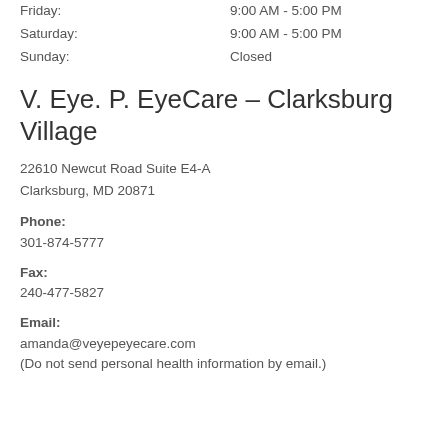Friday:	9:00 AM - 5:00 PM
Saturday:	9:00 AM - 5:00 PM
Sunday:	Closed
V. Eye. P. EyeCare – Clarksburg Village
22610 Newcut Road Suite E4-A
Clarksburg, MD 20871
Phone:
301-874-5777
Fax:
240-477-5827
Email:
amanda@veyepeyecare.com
(Do not send personal health information by email.)